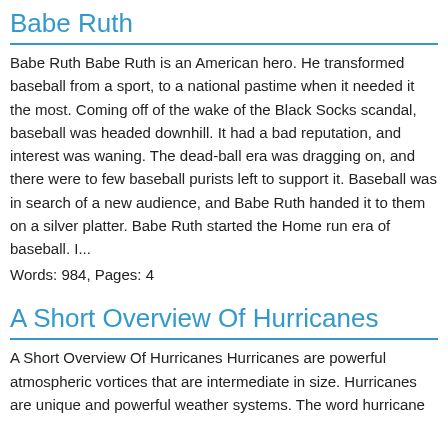Babe Ruth
Babe Ruth Babe Ruth is an American hero. He transformed baseball from a sport, to a national pastime when it needed it the most. Coming off of the wake of the Black Socks scandal, baseball was headed downhill. It had a bad reputation, and interest was waning. The dead-ball era was dragging on, and there were to few baseball purists left to support it. Baseball was in search of a new audience, and Babe Ruth handed it to them on a silver platter. Babe Ruth started the Home run era of baseball. I...
Words: 984, Pages: 4
A Short Overview Of Hurricanes
A Short Overview Of Hurricanes Hurricanes are powerful atmospheric vortices that are intermediate in size. Hurricanes are unique and powerful weather systems. The word hurricane